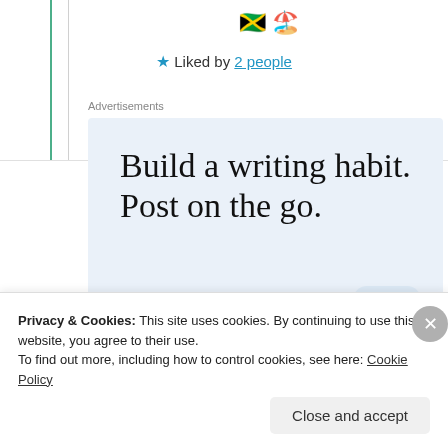🇯🇲🏖️
★ Liked by 2 people
Advertisements
[Figure (infographic): WordPress advertisement reading 'Build a writing habit. Post on the go.' with a GET THE APP call-to-action link and the WordPress logo icon on a light blue background.]
Privacy & Cookies: This site uses cookies. By continuing to use this website, you agree to their use. To find out more, including how to control cookies, see here: Cookie Policy
Close and accept